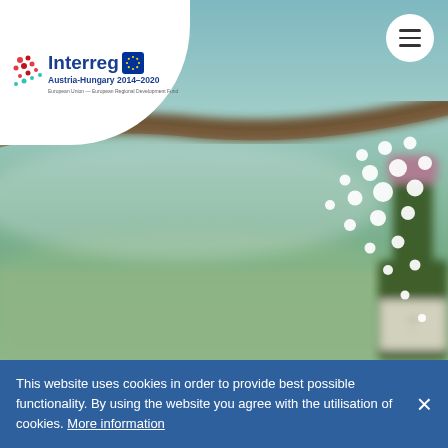[Figure (photo): Blurred outdoor background with green vineyard fields, a wooden branch, a dark green wine bottle with pink/mauve top on the right side, decorative white dots pattern in the upper-right area. Interreg Austria-Hungary 2014-2020 logo in top-left white rounded corner area, hamburger menu button top-right white circle.]
This website uses cookies in order to provide best possible functionality. By using the website you agree with the utilisation of cookies. More information ×